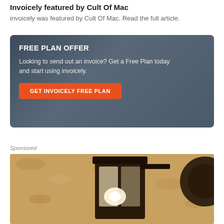Invoicely featured by Cult Of Mac
invoicely was featured by Cult Of Mac. Read the full article.
[Figure (infographic): Promotional banner with dark blue-grey background showing FREE PLAN OFFER heading, descriptive text, and orange CTA button reading GET INVOICELY FREE PLAN]
Sponsored
[Figure (photo): Photo of a wall-mounted lantern light fixture against a textured stone/stucco wall]